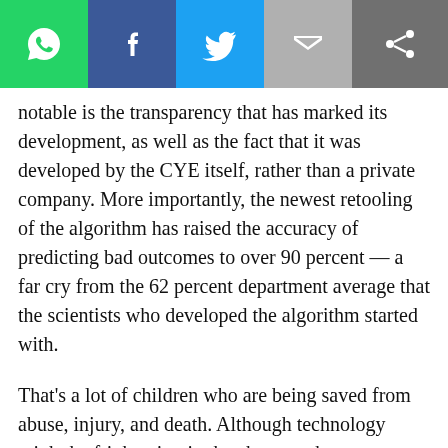[Figure (other): Social media sharing bar with WhatsApp, Facebook, Twitter, Email, and Share buttons]
notable is the transparency that has marked its development, as well as the fact that it was developed by the CYE itself, rather than a private company. More importantly, the newest retooling of the algorithm has raised the accuracy of predicting bad outcomes to over 90 percent — a far cry from the 62 percent department average that the scientists who developed the algorithm started with.
That's a lot of children who are being saved from abuse, injury, and death. Although technology might be frightening in the abstract, the concrete reality of children's lives being saved by technological advances trumps the remote possibility that Alexa and Google Home might go all Skynet on us one day. Today, algorithms are saving the